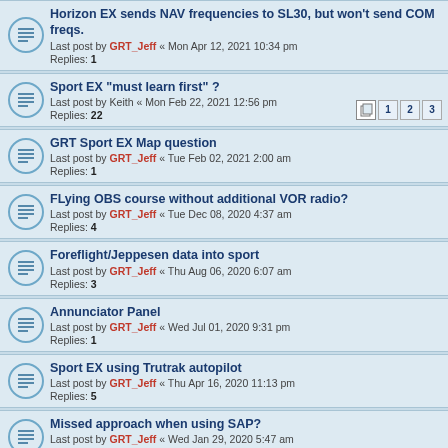Horizon EX sends NAV frequencies to SL30, but won't send COM freqs.
Last post by GRT_Jeff « Mon Apr 12, 2021 10:34 pm
Replies: 1
Sport EX "must learn first" ?
Last post by Keith « Mon Feb 22, 2021 12:56 pm
Replies: 22
Pages: 1 2 3
GRT Sport EX Map question
Last post by GRT_Jeff « Tue Feb 02, 2021 2:00 am
Replies: 1
FLying OBS course without additional VOR radio?
Last post by GRT_Jeff « Tue Dec 08, 2020 4:37 am
Replies: 4
Foreflight/Jeppesen data into sport
Last post by GRT_Jeff « Thu Aug 06, 2020 6:07 am
Replies: 3
Annunciator Panel
Last post by GRT_Jeff « Wed Jul 01, 2020 9:31 pm
Replies: 1
Sport EX using Trutrak autopilot
Last post by GRT_Jeff « Thu Apr 16, 2020 11:13 pm
Replies: 5
Missed approach when using SAP?
Last post by GRT_Jeff « Wed Jan 29, 2020 5:47 am
Replies: 2
ADHRS
Last post by GRT_Jeff « Fri Nov 22, 2019 6:47 am
Replies: 1